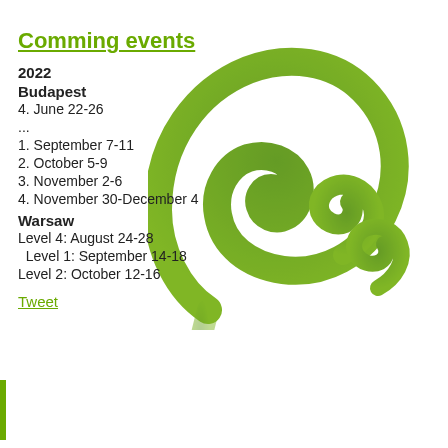Comming events
2022
Budapest
4. June 22-26
...
1. September 7-11
2. October 5-9
3. November 2-6
4. November 30-December 4
Warsaw
Level 4: August 24-28
Level 1: September 14-18
Level 2: October 12-16
[Figure (illustration): Green fern/koru spiral illustration — a decorative green swirling fern frond motif on the right side of the page]
Tweet